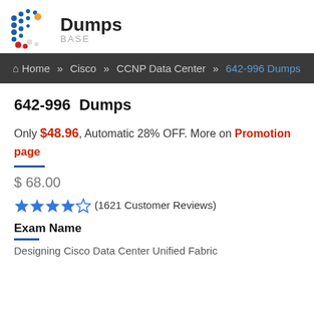[Figure (logo): DumpsBase logo with colorful dots pattern and bold text 'Dumps' with subtitle 'BASE']
Home » Cisco » CCNP Data Center » 642-996 Dumps
642-996 Dumps
Only $48.96, Automatic 28% OFF. More on Promotion page
$ 68.00
(1621 Customer Reviews)
Exam Name
Designing Cisco Data Center Unified Fabric